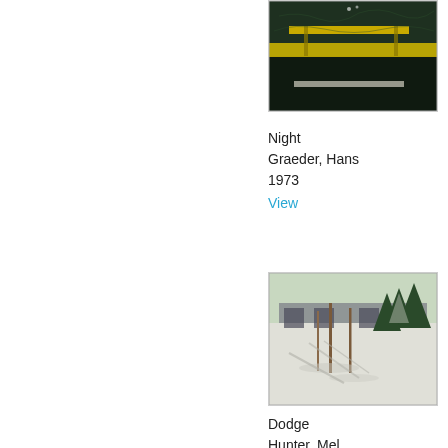[Figure (photo): Artwork titled 'Night' by Hans Graeder, 1973. Dark nighttime scene showing a picnic table or bench structure with a yellow horizontal band across the middle. Dark green/black tones dominate the image.]
Night
Graeder, Hans
1973
View
[Figure (photo): Artwork titled 'Dodge' by Mel Hunter, 1973. Winter scene showing snow-covered ground with bare trees and evergreen trees, with shadows cast across the snow. A bridge or structure visible in the background.]
Dodge
Hunter, Mel
1973